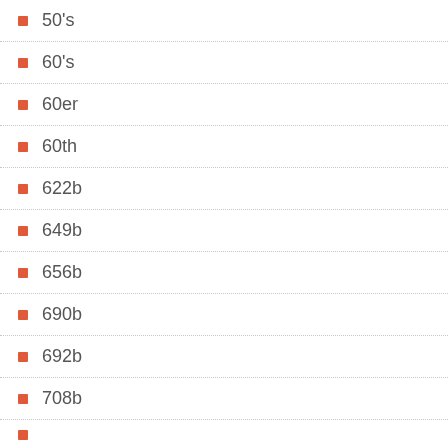50's
60's
60er
60th
622b
649b
656b
690b
692b
708b
??b